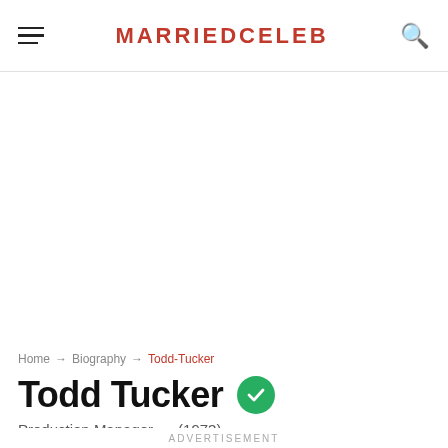MARRIEDCELEB
Home → Biography → Todd-Tucker
Todd Tucker
Production Manager (1973)
ADVERTISEMENT